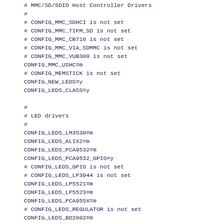# MMC/SD/SDIO Host Controller Drivers
#
# CONFIG_MMC_SDHCI is not set
# CONFIG_MMC_TIFM_SD is not set
# CONFIG_MMC_CB710 is not set
# CONFIG_MMC_VIA_SDMMC is not set
# CONFIG_MMC_VUB300 is not set
CONFIG_MMC_USHC=m
# CONFIG_MEMSTICK is not set
CONFIG_NEW_LEDS=y
CONFIG_LEDS_CLASS=y

#
# LED drivers
#
CONFIG_LEDS_LM3530=m
CONFIG_LEDS_ALIX2=m
CONFIG_LEDS_PCA9532=m
CONFIG_LEDS_PCA9532_GPIO=y
# CONFIG_LEDS_GPIO is not set
# CONFIG_LEDS_LP3944 is not set
CONFIG_LEDS_LP5521=m
CONFIG_LEDS_LP5523=m
CONFIG_LEDS_PCA955X=m
# CONFIG_LEDS_REGULATOR is not set
CONFIG_LEDS_BD2802=m
CONFIG_LEDS_LT3593=m
# CONFIG_LEDS_TRIGGERS is not set

#
# LED Triggers